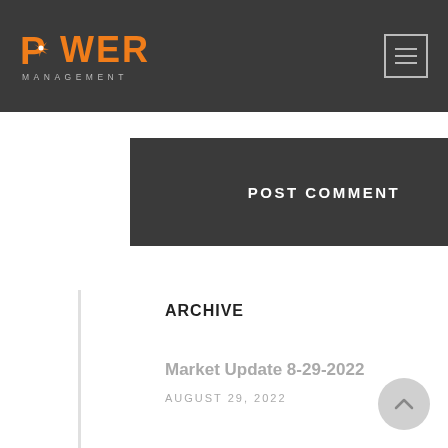POWER MANAGEMENT
POST COMMENT
ARCHIVE
Market Update 8-29-2022
AUGUST 29, 2022